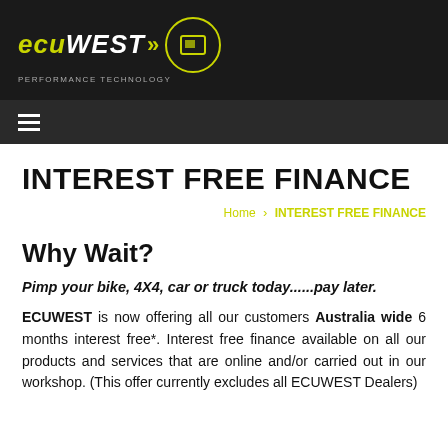[Figure (logo): ECU WEST Performance Technology logo with yellow-green text and circular emblem on dark background]
≡ (hamburger navigation menu)
INTEREST FREE FINANCE
Home > INTEREST FREE FINANCE
Why Wait?
Pimp your bike, 4X4, car or truck today......pay later.
ECUWEST is now offering all our customers Australia wide 6 months interest free*. Interest free finance available on all our products and services that are online and/or carried out in our workshop. (This offer currently excludes all ECUWEST Dealers)